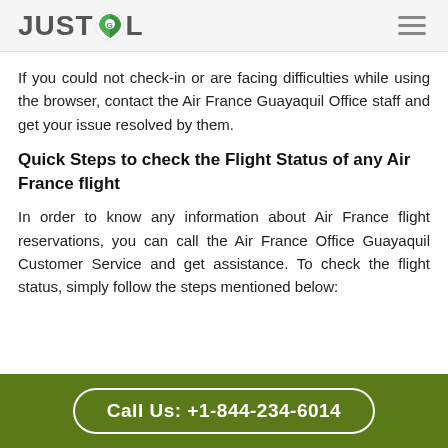JUSTCOL
If you could not check-in or are facing difficulties while using the browser, contact the Air France Guayaquil Office staff and get your issue resolved by them.
Quick Steps to check the Flight Status of any Air France flight
In order to know any information about Air France flight reservations, you can call the Air France Office Guayaquil Customer Service and get assistance. To check the flight status, simply follow the steps mentioned below:
Call Us: +1-844-234-6014